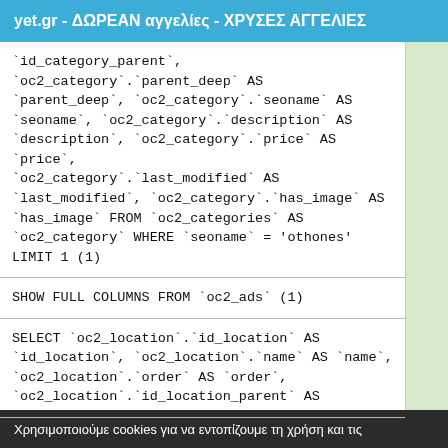yet.gr - ΔΩΡΕΑΝ αγγελίες - ΧΡΥΣΕΣ ΑΓΓΕΛΙΕΣ
`id_category_parent`, `oc2_category`.`parent_deep` AS `parent_deep`, `oc2_category`.`seoname` AS `seoname`, `oc2_category`.`description` AS `description`, `oc2_category`.`price` AS `price`, `oc2_category`.`last_modified` AS `last_modified`, `oc2_category`.`has_image` AS `has_image` FROM `oc2_categories` AS `oc2_category` WHERE `seoname` = 'othones' LIMIT 1 (1)
SHOW FULL COLUMNS FROM `oc2_ads` (1)
SELECT `oc2_location`.`id_location` AS `id_location`, `oc2_location`.`name` AS `name`, `oc2_location`.`order` AS `order`, `oc2_location`.`id_location_parent` AS
Χρησιμοποιούμε cookies για να εντοπίζουμε τη χρήση και τις